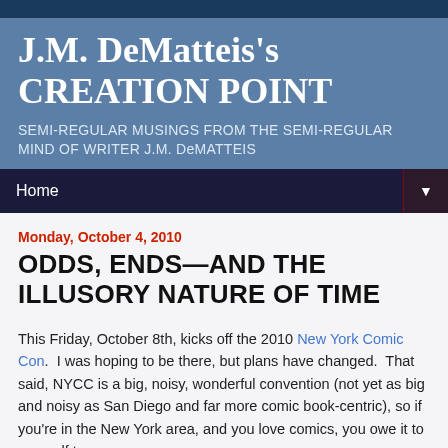J.M. DeMatteis's CREATION POINT
SEMI-REGULAR MUSINGS FROM THE SEMI-REGULAR MIND OF WRITER J.M. DeMATTEIS
Home
Monday, October 4, 2010
ODDS, ENDS—AND THE ILLUSORY NATURE OF TIME
This Friday, October 8th, kicks off the 2010 New York Comic Con.  I was hoping to be there, but plans have changed.  That said, NYCC is a big, noisy, wonderful convention (not yet as big and noisy as San Diego and far more comic book-centric), so if you're in the New York area, and you love comics, you owe it to yourself to go.